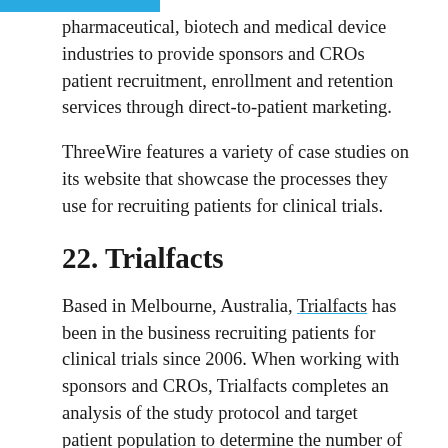pharmaceutical, biotech and medical device industries to provide sponsors and CROs patient recruitment, enrollment and retention services through direct-to-patient marketing.
ThreeWire features a variety of case studies on its website that showcase the processes they use for recruiting patients for clinical trials.
22. Trialfacts
Based in Melbourne, Australia, Trialfacts has been in the business recruiting patients for clinical trials since 2006. When working with sponsors and CROs, Trialfacts completes an analysis of the study protocol and target patient population to determine the number of patients that can be recruited, and makes a 100 percent patient